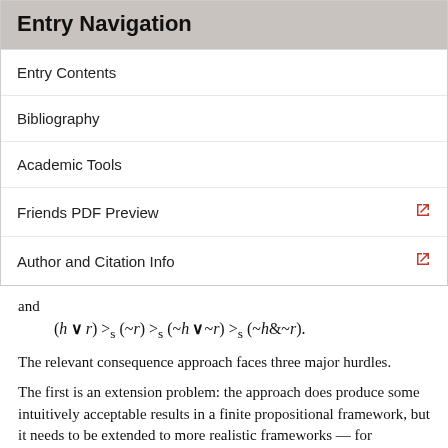Entry Navigation
Entry Contents
Bibliography
Academic Tools
Friends PDF Preview
Author and Citation Info
and
The relevant consequence approach faces three major hurdles.
The first is an extension problem: the approach does produce some intuitively acceptable results in a finite propositional framework, but it needs to be extended to more realistic frameworks — for example, first-order and higher-order frameworks. Gemes's recent proposal in his 2007...